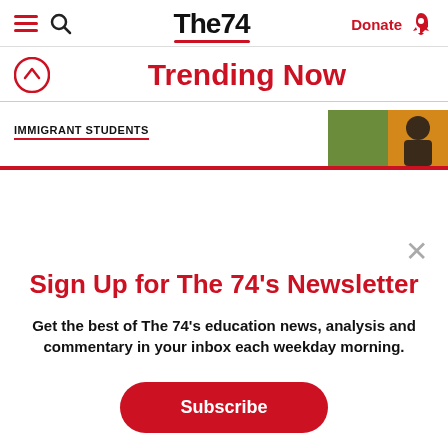The74 — Donate
Trending Now
IMMIGRANT STUDENTS
Sign Up for The 74's Newsletter
Get the best of The 74's education news, analysis and commentary in your inbox each weekday morning.
Subscribe